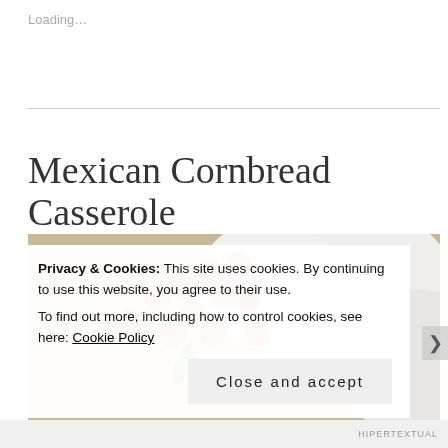Loading…
Mexican Cornbread Casserole
[Figure (photo): Close-up photo of cherry tomatoes and green jalapeño pepper on a white lace doily with large white rounded dishes or bowls in the background]
Privacy & Cookies: This site uses cookies. By continuing to use this website, you agree to their use.
To find out more, including how to control cookies, see here: Cookie Policy
Close and accept